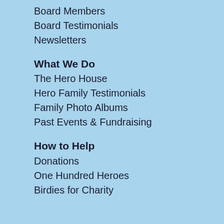Board Members
Board Testimonials
Newsletters
What We Do
The Hero House
Hero Family Testimonials
Family Photo Albums
Past Events & Fundraising
How to Help
Donations
One Hundred Heroes
Birdies for Charity
Supporters
Donors